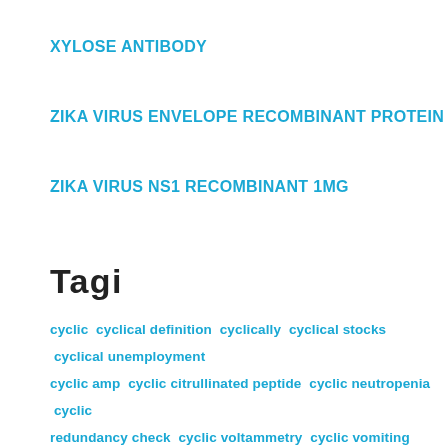XYLOSE ANTIBODY
ZIKA VIRUS ENVELOPE RECOMBINANT PROTEIN
ZIKA VIRUS NS1 RECOMBINANT 1MG
Tagi
cyclic cyclical definition cyclically cyclical stocks cyclical unemployment cyclic amp cyclic citrullinated peptide cyclic neutropenia cyclic redundancy check cyclic voltammetry cyclic vomiting syndrome influenza 2020 influenza 2022 influenza 2022 symptoms influenza a/b influenza a contagious influenza a h3n2 influenza a icd 10 influenza a virus influenza death rate influenzae influenza h1n1 influenza laiv influenza pandemic influenza pdf influenza sintomas influenza